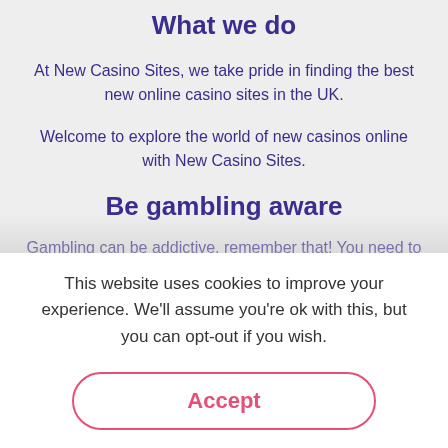What we do
At New Casino Sites, we take pride in finding the best new online casino sites in the UK.
Welcome to explore the world of new casinos online with New Casino Sites.
Be gambling aware
Gambling can be addictive, remember that! You need to be 18 years old to play at UK casinos. Always play for fun and never chase loses. If you experience any sign of having a gambling problem, please visit GamCare for more info.
This website uses cookies to improve your experience. We'll assume you're ok with this, but you can opt-out if you wish.
Accept